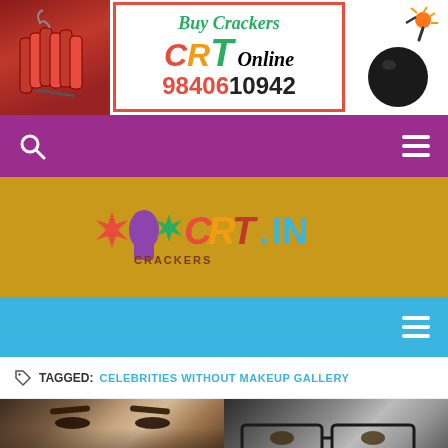[Figure (screenshot): Ad banner for CRT Buy Crackers Online with phone number 9840610942, fireworks/crackers image on left, bomb illustration on right]
[Figure (screenshot): Purple navigation bar with search icon (magnifying glass) on left and hamburger menu on right]
[Figure (logo): Website logo on golden/yellow background showing stylized text with star/cracker graphics and '.IN' suffix]
[Figure (screenshot): Blue navigation bar with hamburger menu on right]
TAGGED: CELEBRITIES WITHOUT MAKEUP GALLERY
[Figure (photo): Two celebrity photos side by side, left showing a woman with dark hair and eyes, right showing a woman with glasses and dark hair, with comment badge showing 0]